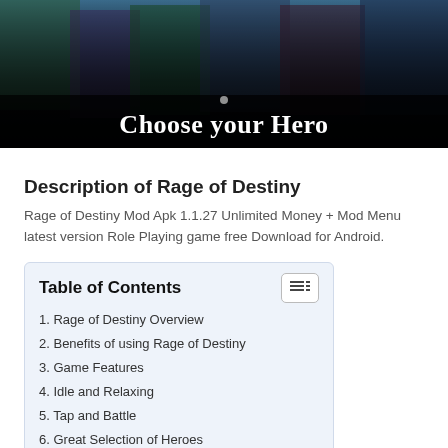[Figure (screenshot): Game banner image showing fantasy characters with text 'Choose your Hero' overlaid on a dark background]
Description of Rage of Destiny
Rage of Destiny Mod Apk 1.1.27 Unlimited Money + Mod Menu latest version Role Playing game free Download for Android.
Table of Contents
1. Rage of Destiny Overview
2. Benefits of using Rage of Destiny
3. Game Features
4. Idle and Relaxing
5. Tap and Battle
6. Great Selection of Heroes
7. Random Surprises
8. Game Features